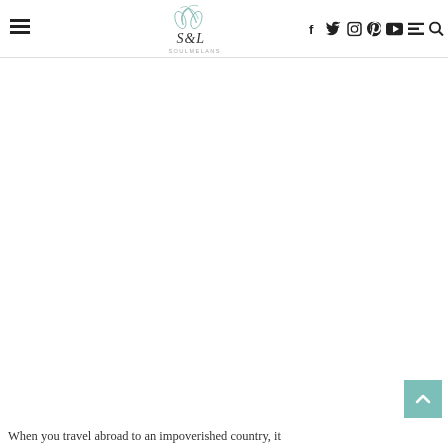SoulMelanS travel blog header with logo and social icons: Facebook, Twitter, Instagram, Pinterest, YouTube, menu, search
[Figure (other): Large blank white content area, likely a photo placeholder in the article body]
[Figure (other): Teal/green scroll-to-top button with upward chevron arrow in bottom right corner]
When you travel abroad to an impoverished country, it